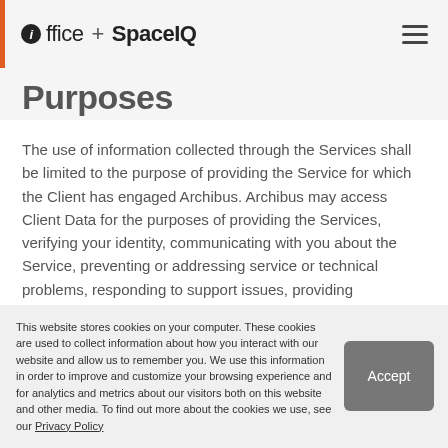ioffice + SpaceIQ
Purposes
The use of information collected through the Services shall be limited to the purpose of providing the Service for which the Client has engaged Archibus. Archibus may access Client Data for the purposes of providing the Services, verifying your identity, communicating with you about the Service, preventing or addressing service or technical problems, responding to support issues, providing transaction histories,
This website stores cookies on your computer. These cookies are used to collect information about how you interact with our website and allow us to remember you. We use this information in order to improve and customize your browsing experience and for analytics and metrics about our visitors both on this website and other media. To find out more about the cookies we use, see our Privacy Policy